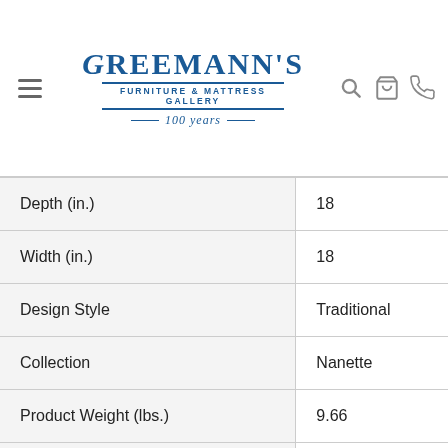Greemann's Furniture & Mattress Gallery — 100 years
| Attribute | Value |
| --- | --- |
| Depth (in.) | 18 |
| Width (in.) | 18 |
| Design Style | Traditional |
| Collection | Nanette |
| Product Weight (lbs.) | 9.66 |
| Maximum Bulb Wattage | 150 |
| Shade Material | Silk |